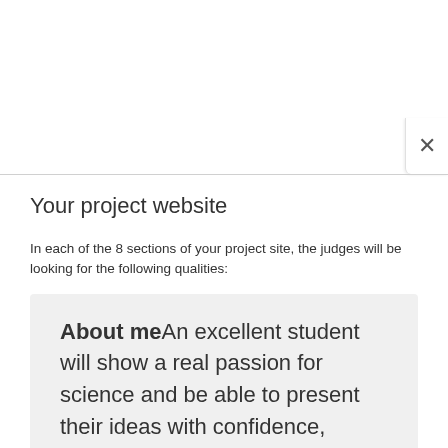Your project website
In each of the 8 sections of your project site, the judges will be looking for the following qualities:
About meAn excellent student will show a real passion for science and be able to present their ideas with confidence, clarity and enthusiasm, and explain what winning would mean to them